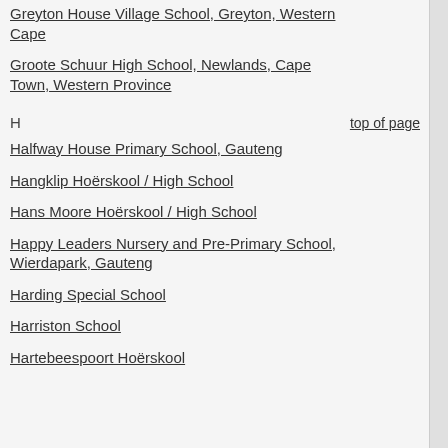Greyton House Village School, Greyton, Western Cape
Groote Schuur High School, Newlands, Cape Town, Western Province
H
top of page
Halfway House Primary School, Gauteng
Hangklip Hoërskool / High School
Hans Moore Hoërskool / High School
Happy Leaders Nursery and Pre-Primary School, Wierdapark, Gauteng
Harding Special School
Harriston School
Hartebeespoort Hoërskool